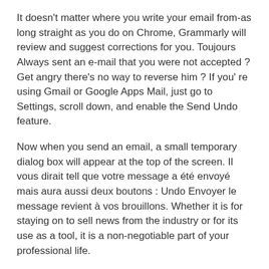It doesn't matter where you write your email from-as long straight as you do on Chrome, Grammarly will review and suggest corrections for you. Toujours Always sent an e-mail that you were not accepted ? Get angry there's no way to reverse him ? If you' re using Gmail or Google Apps Mail, just go to Settings, scroll down, and enable the Send Undo feature.
Now when you send an email, a small temporary dialog box will appear at the top of the screen. Il vous dirait tell que votre message a été envoyé mais aura aussi deux boutons : Undo Envoyer le message revient à vos brouillons. Whether it is for staying on to sell news from the industry or for its use as a tool, it is a non-negotiable part of your professional life.
However, the use of social media for distribution is a whole'nother ball game. Asyde from sharing content from your marketing and sales enablement teams, prospectors need to curate content from anywhere on the web to share their own social profiles. First, c'est toujours une bonne idée de consommer continuellement des informations bonnes et utiles.
Second, l'autopromotion peut vous faire mordre fort sur les